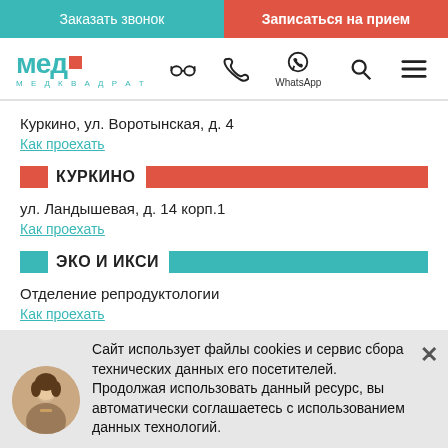Заказать звонок | Записаться на прием
[Figure (logo): МЕД МЕДКВАДРАТ logo with teal text and red square icon]
Куркино, ул. Воротынская, д. 4
Как проехать
КУРКИНО
ул. Ландышевая, д. 14 корп.1
Как проехать
ЭКО И ИКСИ
Отделение репродуктологии
Как проехать
Сайт использует файлы cookies и сервис сбора технических данных его посетителей. Продолжая использовать данный ресурс, вы автоматически соглашаетесь с использованием данных технологий.